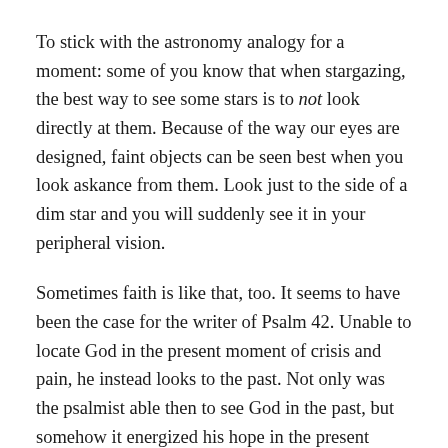To stick with the astronomy analogy for a moment: some of you know that when stargazing, the best way to see some stars is to not look directly at them. Because of the way our eyes are designed, faint objects can be seen best when you look askance from them. Look just to the side of a dim star and you will suddenly see it in your peripheral vision.
Sometimes faith is like that, too. It seems to have been the case for the writer of Psalm 42. Unable to locate God in the present moment of crisis and pain, he instead looks to the past. Not only was the psalmist able then to see God in the past, but somehow it energized his hope in the present moment too. By looking just to the side of his current circumstances God appeared in the...